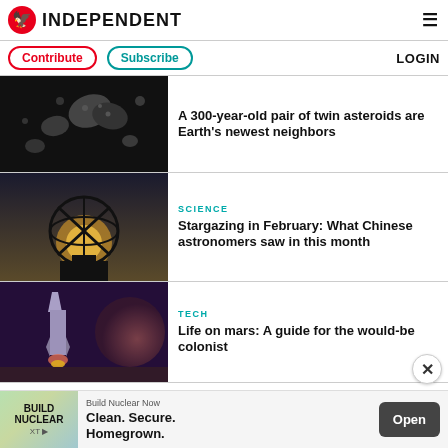INDEPENDENT
Contribute   Subscribe   LOGIN
A 300-year-old pair of twin asteroids are Earth's newest neighbors
SCIENCE
Stargazing in February: What Chinese astronomers saw in this month
TECH
Life on mars: A guide for the would-be colonist
Build Nuclear Now Clean. Secure. Homegrown. Open